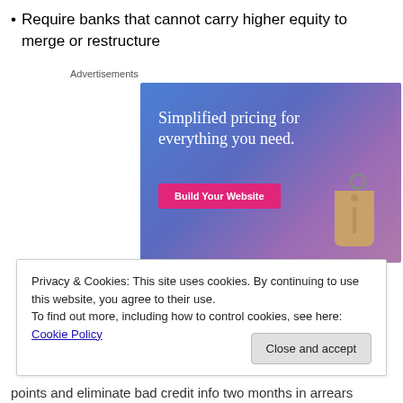Require banks that cannot carry higher equity to merge or restructure
Advertisements
[Figure (illustration): Advertisement banner with gradient blue-purple background showing a price tag graphic and text 'Simplified pricing for everything you need.' with a pink 'Build Your Website' button]
Privacy & Cookies: This site uses cookies. By continuing to use this website, you agree to their use.
To find out more, including how to control cookies, see here: Cookie Policy
Close and accept
points and eliminate bad credit info two months in arrears